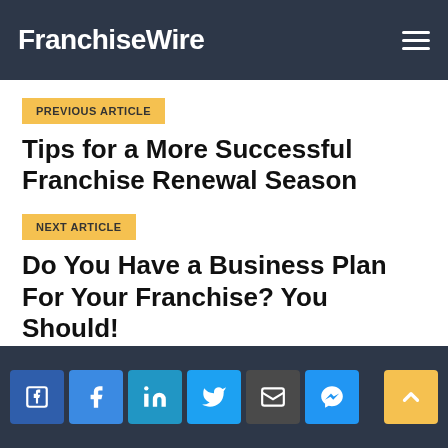FranchiseWire
PREVIOUS ARTICLE
Tips for a More Successful Franchise Renewal Season
NEXT ARTICLE
Do You Have a Business Plan For Your Franchise? You Should!
Social share buttons: Facebook, Facebook, LinkedIn, Twitter, Email, Messenger. Scroll to top button.